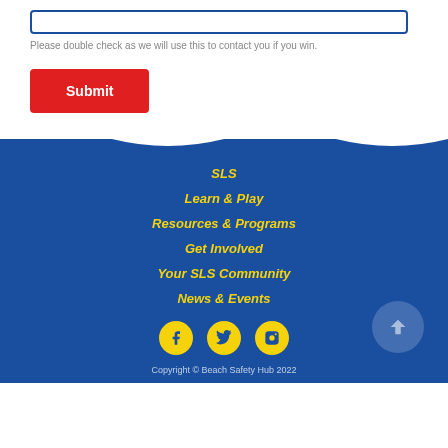Please double check as we will use this to contact you if you win.
Submit
SLS
Learn & Play
Resources & Programs
Get Involved
Your SLS Community
News & Events
[Figure (other): Social media icons: Facebook, Twitter, Instagram circles in yellow]
Copyright © Beach Safety Hub 2022